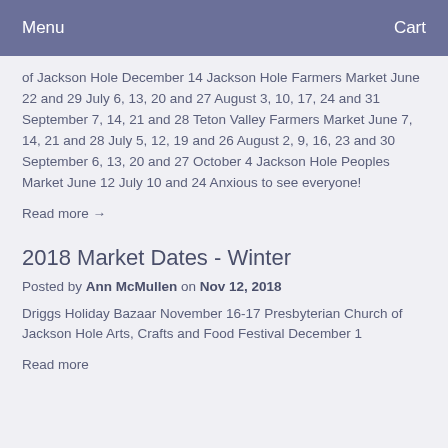Menu    Cart
of Jackson Hole December 14 Jackson Hole Farmers Market June 22 and 29 July 6, 13, 20 and 27 August 3, 10, 17, 24 and 31 September 7, 14, 21 and 28 Teton Valley Farmers Market June 7, 14, 21 and 28 July 5, 12, 19 and 26 August 2, 9, 16, 23 and 30 September 6, 13, 20 and 27 October 4 Jackson Hole Peoples Market June 12 July 10 and 24 Anxious to see everyone!
Read more →
2018 Market Dates - Winter
Posted by Ann McMullen on Nov 12, 2018
Driggs Holiday Bazaar November 16-17 Presbyterian Church of Jackson Hole Arts, Crafts and Food Festival December 1
Read more